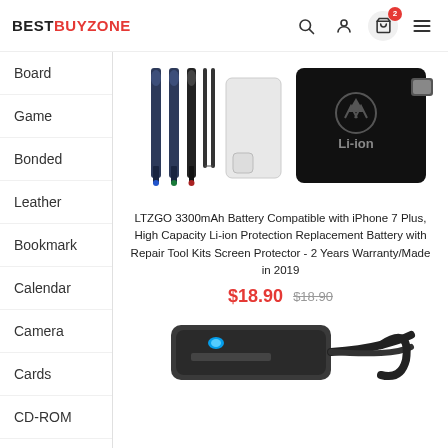BESTBUYZONE
Board
Game
Bonded
Leather
Bookmark
Calendar
Camera
Cards
CD-ROM
Comic
[Figure (photo): Product image showing repair tool kit with screwdrivers, tweezers, screen protector, and Li-ion battery for iPhone 7 Plus]
LTZGO 3300mAh Battery Compatible with iPhone 7 Plus, High Capacity Li-ion Protection Replacement Battery with Repair Tool Kits Screen Protector - 2 Years Warranty/Made in 2019
$18.90  $18.90
[Figure (photo): Bottom portion of a dark electronic device with cable, partially visible]